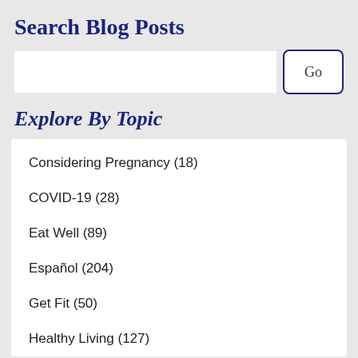Search Blog Posts
[Figure (screenshot): Search input box with Go button]
Explore By Topic
Considering Pregnancy (18)
COVID-19 (28)
Eat Well (89)
Español (204)
Get Fit (50)
Healthy Living (127)